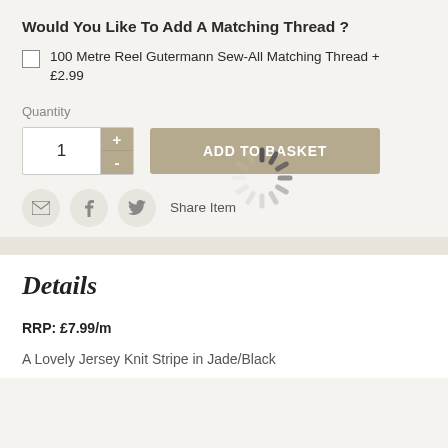Would You Like To Add A Matching Thread ?
100 Metre Reel Gutermann Sew-All Matching Thread + £2.99
Quantity
ADD TO BASKET
[Figure (infographic): Loading spinner graphic (rotating lines in grey)]
Share Item
Details
RRP: £7.99/m
A Lovely Jersey Knit Stripe in Jade/Black